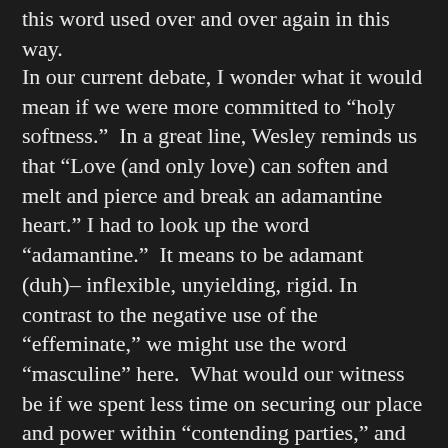this word used over and over again in this way.
In our current debate, I wonder what it would mean if we were more committed to “holy softness.”  In a great line, Wesley reminds us that “Love (and only love) can soften and melt and pierce and break an adamantine heart.” I had to look up the word “adamantine.”  It means to be adamant (duh)– inflexible, unyielding, rigid. In contrast to the negative use of the “effeminate,” we might use the word “masculine” here.  What would our witness be if we spent less time on securing our place and power within “contending parties,” and more time being peacemakers in the most holy of senses?  What if we focused first on giving witness to the softer virtues of patience